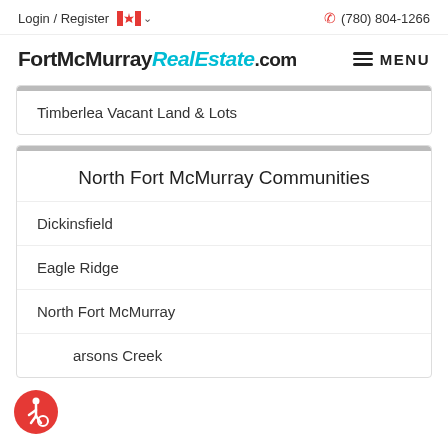Login / Register  (780) 804-1266
FortMcMurrayRealEstate.com
Timberlea Vacant Land & Lots
North Fort McMurray Communities
Dickinsfield
Eagle Ridge
North Fort McMurray
Parsons Creek